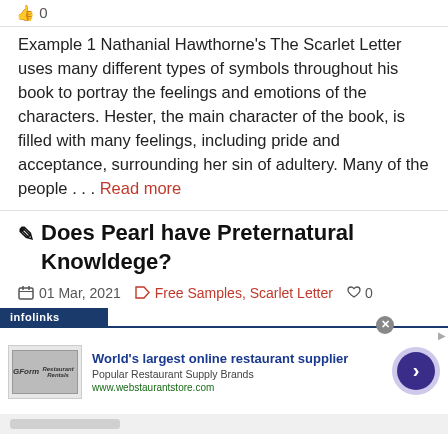👍 0
Example 1 Nathanial Hawthorne's The Scarlet Letter uses many different types of symbols throughout his book to portray the feelings and emotions of the characters. Hester, the main character of the book, is filled with many feelings, including pride and acceptance, surrounding her sin of adultery. Many of the people . . . Read more
✏ Does Pearl have Preternatural Knowldege?
01 Mar, 2021   Free Samples, Scarlet Letter   👍 0
[Figure (screenshot): infolinks advertisement banner for World's largest online restaurant supplier (webstaurantstore.com) with a restaurant supply brand logo and navigation arrow button]